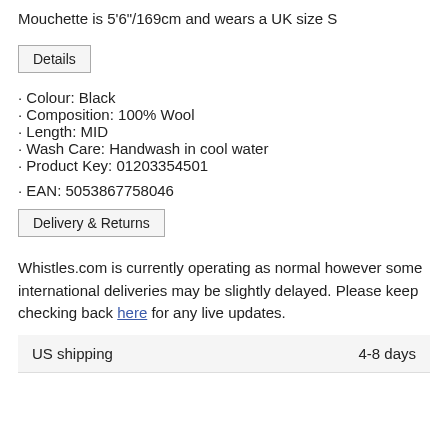Mouchette is 5'6"/169cm and wears a UK size S
Details
· Colour: Black
· Composition: 100% Wool
· Length: MID
· Wash Care: Handwash in cool water
· Product Key: 01203354501
· EAN: 5053867758046
Delivery & Returns
Whistles.com is currently operating as normal however some international deliveries may be slightly delayed. Please keep checking back here for any live updates.
| US shipping | 4-8 days |
| --- | --- |